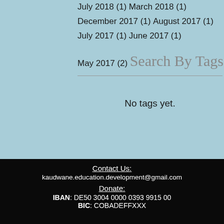July 2018 (1)
March 2018 (1)
December 2017 (1)
August 2017 (1)
July 2017 (1)
June 2017 (1)
May 2017 (2)
Search By Tags
No tags yet.
Contact Us:
kaudwane.education.development@gmail.com
Donate:
IBAN: DE50 3004 0000 0393 9915 00
BIC: COBADEFFXXX